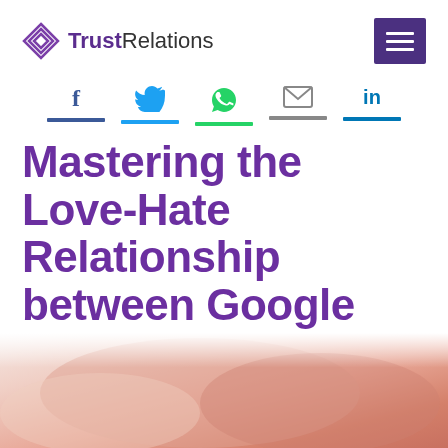TrustRelations
[Figure (infographic): Social sharing icons row: Facebook (f), Twitter (bird), WhatsApp (phone), Email (envelope), LinkedIn (in), each with a colored underline bar]
Mastering the Love-Hate Relationship between Google and SEO
[Figure (photo): Close-up photo of intertwined fingers/hands with warm pink/peach tones]